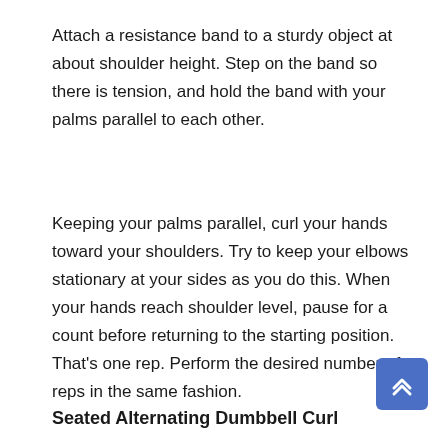Attach a resistance band to a sturdy object at about shoulder height. Step on the band so there is tension, and hold the band with your palms parallel to each other.
Keeping your palms parallel, curl your hands toward your shoulders. Try to keep your elbows stationary at your sides as you do this. When your hands reach shoulder level, pause for a count before returning to the starting position. That’s one rep. Perform the desired number of reps in the same fashion.
Seated Alternating Dumbbell Curl